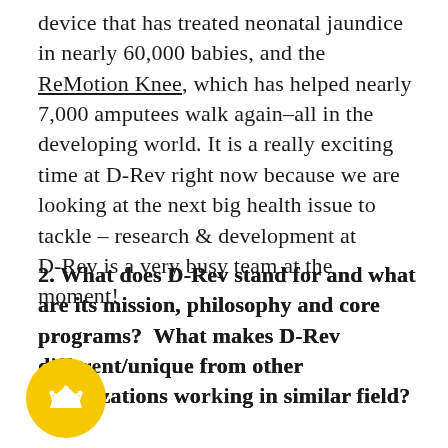device that has treated neonatal jaundice in nearly 60,000 babies, and the ReMotion Knee, which has helped nearly 7,000 amputees walk again–all in the developing world. It is a really exciting time at D-Rev right now because we are looking at the next big health issue to tackle – research & development at D-Rev is a very busy team at the moment!
2. What does D-Rev stand for and what are its mission, philosophy and core programs?  What makes D-Rev different/unique from other organizations working in similar field?
[Figure (illustration): Yellow circular badge/seal with a white crown icon in the center, overlaid on the text.]